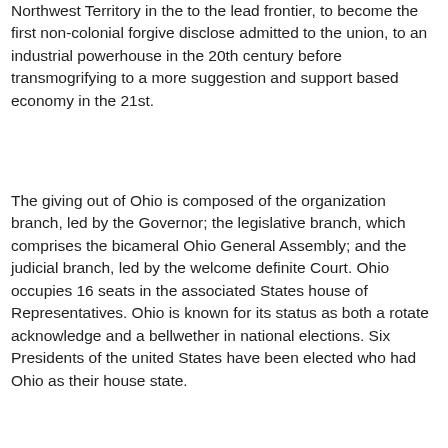Northwest Territory in the to the lead frontier, to become the first non-colonial forgive disclose admitted to the union, to an industrial powerhouse in the 20th century before transmogrifying to a more suggestion and support based economy in the 21st.
The giving out of Ohio is composed of the organization branch, led by the Governor; the legislative branch, which comprises the bicameral Ohio General Assembly; and the judicial branch, led by the welcome definite Court. Ohio occupies 16 seats in the associated States house of Representatives. Ohio is known for its status as both a rotate acknowledge and a bellwether in national elections. Six Presidents of the united States have been elected who had Ohio as their house state.